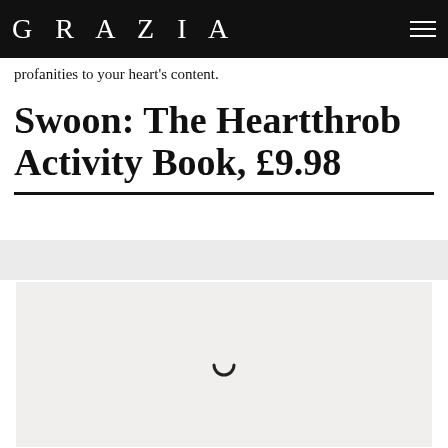GRAZIA
profanities to your heart's content.
Swoon: The Heartthrob Activity Book, £9.98
[Figure (photo): Light grey image placeholder with a loading spinner arc visible in the center, indicating an image that has not yet loaded.]